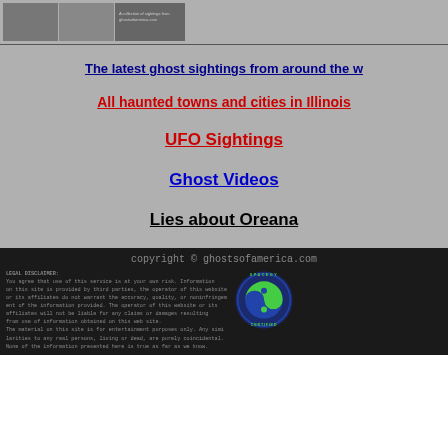[Figure (photo): Three grayscale thumbnail images in a row at the top of the page on a gray background]
The latest ghost sightings from around the w
All haunted towns and cities in Illinois
UFO Sightings
Ghost Videos
Lies about Oreana
copyright © ghostsofamerica.com
LEGAL DISCLAIMER:
You agree that use of this service is at your own risk. Information on this site is provided by third parties, the operator of this website or its affiliates do not warrant the accuracy, quality, or noninfringement of the information provided. The operator of this website or its affiliates will not be liable for any claims or damages resulting from use of information obtained on this web site.
The material on this site is for entertainment purposes only. Any similarities to any real persons, living or dead, are purely coincidental. None of the information presented here is true as far as we know.